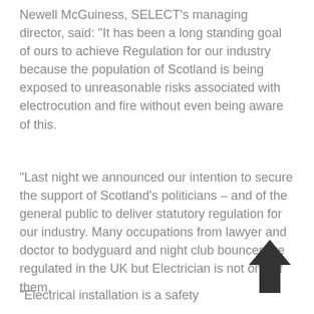Newell McGuiness, SELECT's managing director, said: “It has been a long standing goal of ours to achieve Regulation for our industry because the population of Scotland is being exposed to unreasonable risks associated with electrocution and fire without even being aware of this.
“Last night we announced our intention to secure the support of Scotland’s politicians – and of the general public to deliver statutory regulation for our industry. Many occupations from lawyer and doctor to bodyguard and night club bouncer are regulated in the UK but Electrician is not one of them.
“Electrical installation is a safety